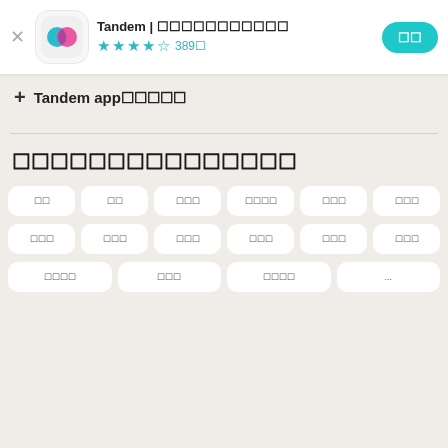[Figure (screenshot): App header with Tandem app icon (teal and pink overlapping circles on white rounded square), app name 'Tandem | 言語交換・チャット', 4.5 star rating, 389件 reviews, and a teal install button]
+ Tandem app内課金あり
サポートされている言語
英語
日本語
スペイン語
フランス語
ドイツ語
中国語
韓国語
ポルトガル語
イタリア語
アラビア語
ロシア語
トルコ語
オランダ語
ヒンディー語
ポーランド語
...